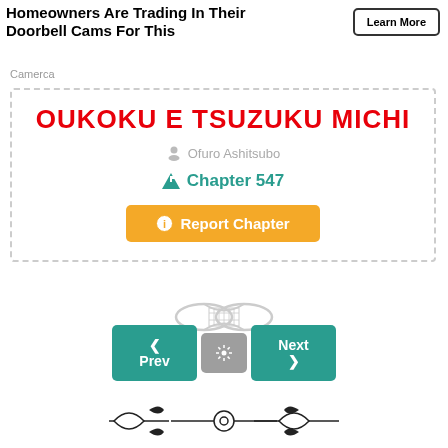Homeowners Are Trading In Their Doorbell Cams For This
Camerca
Learn More
OUKOKU E TSUZUKU MICHI
Ofuro Ashitsubo
Chapter 547
Report Chapter
[Figure (illustration): Decorative infinity knot ornament divider]
Prev
Next
[Figure (illustration): Decorative floral divider ornament at bottom]